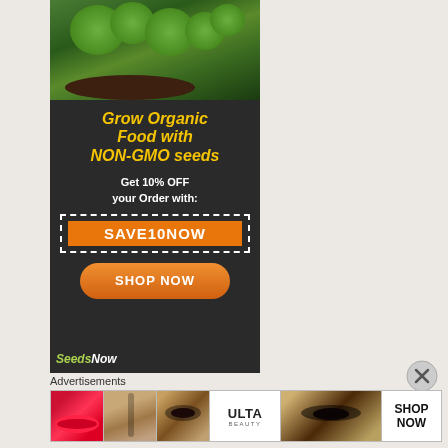[Figure (illustration): Advertisement banner for organic seeds. Dark wood background with broccoli/vegetables image at top. Yellow italic text: 'Grow Organic Food with NON-GMO seeds'. White text: 'Get 10% OFF your Order with:'. Dashed white box with orange coupon code 'SAVE10NOW'. Orange rounded 'SHOP NOW' button. Green logo at bottom.]
Advertisements
[Figure (illustration): Horizontal advertisement strip showing Ulta Beauty ad with makeup/cosmetics imagery: lips with red lipstick, makeup brush, eye with makeup, Ulta Beauty logo, eye close-up, and SHOP NOW text.]